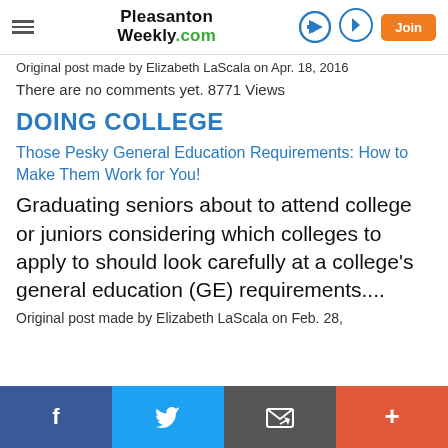Pleasanton Weekly.com
Original post made by Elizabeth LaScala on Apr. 18, 2016
There are no comments yet. 8771 Views
DOING COLLEGE
Those Pesky General Education Requirements: How to Make Them Work for You!
Graduating seniors about to attend college or juniors considering which colleges to apply to should look carefully at a college's general education (GE) requirements....
Original post made by Elizabeth LaScala on Feb. 28,
f | Twitter | Email | +